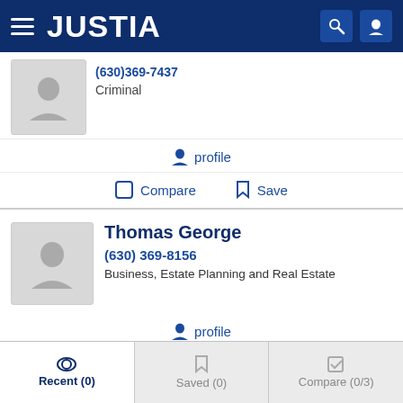JUSTIA
Criminal
profile
Compare   Save
Thomas George
(630) 369-8156
Business, Estate Planning and Real Estate
profile
Compare   Save
Recent (0)   Saved (0)   Compare (0/3)